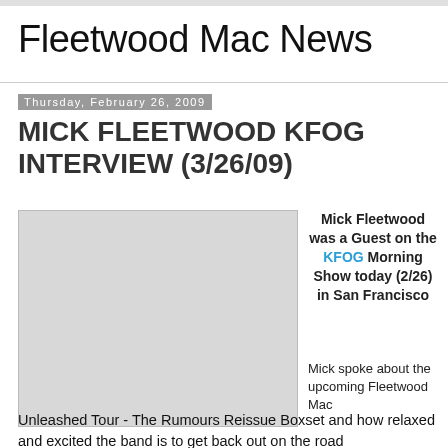Fleetwood Mac News
Thursday, February 26, 2009
MICK FLEETWOOD KFOG INTERVIEW (3/26/09)
[Figure (photo): Image placeholder - light gray rectangle representing a photo]
Mick Fleetwood was a Guest on the KFOG Morning Show today (2/26) in San Francisco
Mick spoke about the upcoming Fleetwood Mac Unleashed Tour - The Rumours Reissue Boxset and how relaxed and excited the band is to get back out on the road